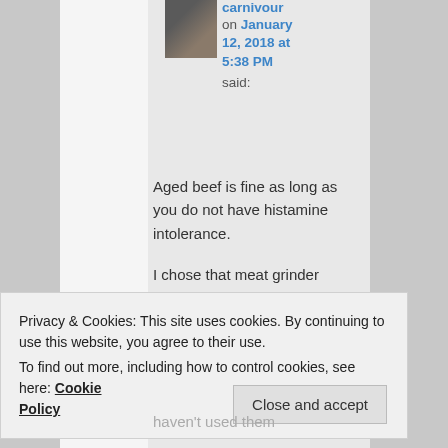on January 12, 2018 at 5:38 PM said:
Aged beef is fine as long as you do not have histamine intolerance.

I chose that meat grinder because i wanted stainless steel and i wanted it
Privacy & Cookies: This site uses cookies. By continuing to use this website, you agree to their use.
To find out more, including how to control cookies, see here: Cookie Policy
Close and accept
haven't used them